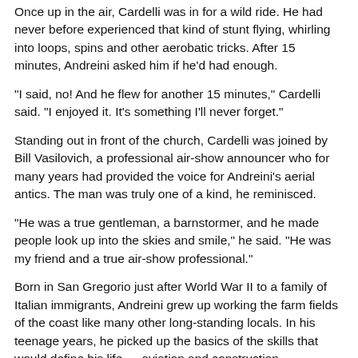Once up in the air, Cardelli was in for a wild ride. He had never before experienced that kind of stunt flying, whirling into loops, spins and other aerobatic tricks. After 15 minutes, Andreini asked him if he'd had enough.
“I said, no! And he flew for another 15 minutes,” Cardelli said. “I enjoyed it. It’s something I’ll never forget.”
Standing out in front of the church, Cardelli was joined by Bill Vasilovich, a professional air-show announcer who for many years had provided the voice for Andreini's aerial antics. The man was truly one of a kind, he reminisced.
“He was a true gentleman, a barnstormer, and he made people look up into the skies and smile,” he said. “He was my friend and a true air-show professional.”
Born in San Gregorio just after World War II to a family of Italian immigrants, Andreini grew up working the farm fields of the coast like many other long-standing locals. In his teenage years, he picked up the basics of the skills that would define his life — aviation and construction.